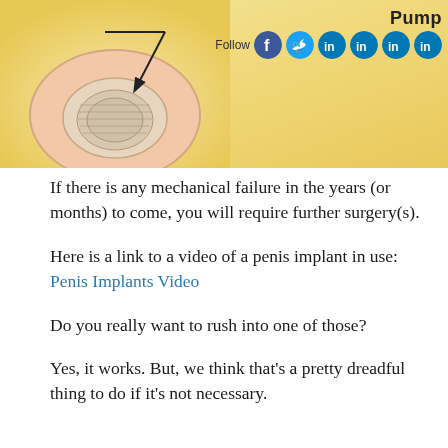[Figure (illustration): Medical diagram of a penile implant pump component, with an arrow pointing to the pump. Social media icons (Facebook, Twitter, LinkedIn x4) and 'Follow' text visible in the top right. Background is golden/yellow.]
If there is any mechanical failure in the years (or months) to come, you will require further surgery(s).
Here is a link to a video of a penis implant in use: Penis Implants Video
Do you really want to rush into one of those?
Yes, it works. But, we think that's a pretty dreadful thing to do if it's not necessary.